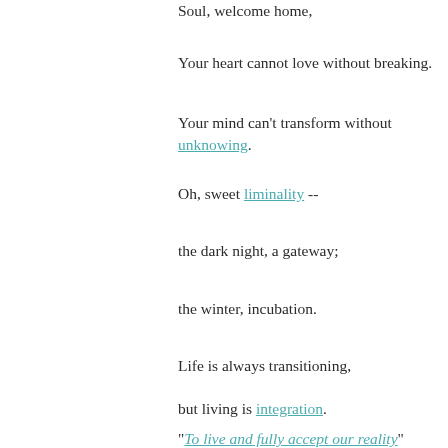Soul, welcome home,
Your heart cannot love without breaking.
Your mind can't transform without unknowing.
Oh, sweet liminality --
the dark night, a gateway;
the winter, incubation.
Life is always transitioning,
but living is integration.
"To live and fully accept our reality"